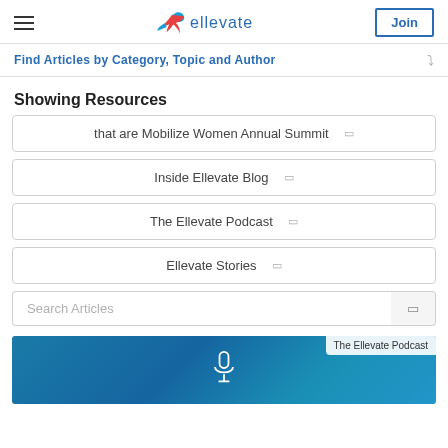ellevate — Join
Find Articles by Category, Topic and Author
Showing Resources
that are Mobilize Women Annual Summit
Inside Ellevate Blog
The Ellevate Podcast
Ellevate Stories
Search Articles
[Figure (photo): Podcast image with microphone icon on blue background, with 'The Ellevate Podcast' tag]